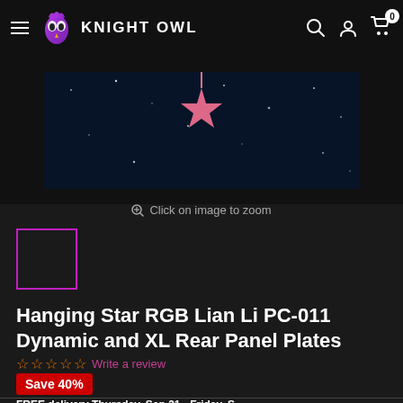Knight Owl
[Figure (photo): Product image of Hanging Star RGB rear panel plate on a blue starry background]
Click on image to zoom
[Figure (photo): Small thumbnail of product image with pink/magenta border indicating selected state]
Hanging Star RGB Lian Li PC-011 Dynamic and XL Rear Panel Plates
☆☆☆☆☆ Write a review
Save 40%
FREE delivery Thursday, Sep 21 - Friday, S...